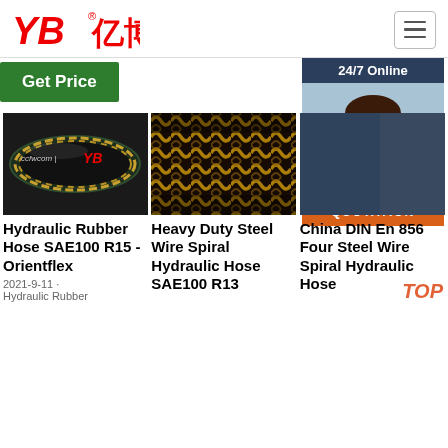[Figure (logo): YB亿博 company logo in red with registered trademark symbol]
[Figure (illustration): Hamburger menu icon (three horizontal lines) in a rounded border box]
Get Price
24/7 Online
[Figure (photo): Hydraulic rubber hose SAE100 R15 product photo, dark green hose with gold wire, YB logo]
[Figure (photo): Heavy duty steel wire spiral hydraulic hose SAE100 R13, close-up of gold braided wire pattern]
[Figure (photo): Customer service agent female with headset smiling, with 24/7 online panel]
Click here for free chat !
QUOTATION
Hydraulic Rubber Hose SAE100 R15 - Orientflex
2021-9-11  ·  Hydraulic Rubber
Heavy Duty Steel Wire Spiral Hydraulic Hose SAE100 R13
China DIN En 856 Four Steel Wire Spiral Hydraulic Hose